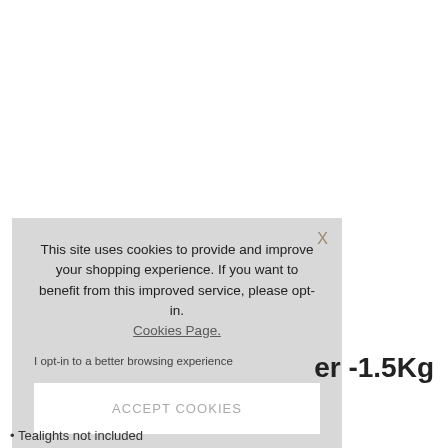This site uses cookies to provide and improve your shopping experience. If you want to benefit from this improved service, please opt-in. Cookies Page. I opt-in to a better browsing experience
ACCEPT COOKIES
er -1.5Kg
• Tealights not included